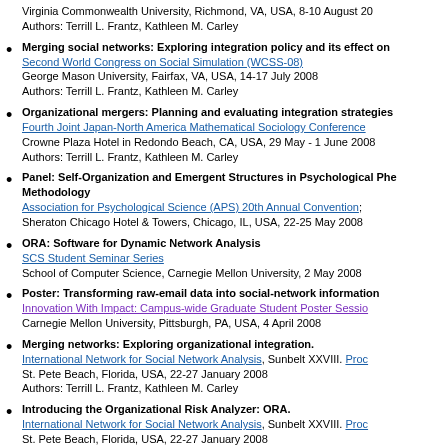Virginia Commonwealth University, Richmond, VA, USA, 8-10 August 20...
Authors: Terrill L. Frantz, Kathleen M. Carley
Merging social networks: Exploring integration policy and its effect on...
Second World Congress on Social Simulation (WCSS-08)
George Mason University, Fairfax, VA, USA, 14-17 July 2008
Authors: Terrill L. Frantz, Kathleen M. Carley
Organizational mergers: Planning and evaluating integration strategies...
Fourth Joint Japan-North America Mathematical Sociology Conference
Crowne Plaza Hotel in Redondo Beach, CA, USA, 29 May - 1 June 2008
Authors: Terrill L. Frantz, Kathleen M. Carley
Panel: Self-Organization and Emergent Structures in Psychological Phe... Methodology
Association for Psychological Science (APS) 20th Annual Convention;
Sheraton Chicago Hotel & Towers, Chicago, IL, USA, 22-25 May 2008
ORA: Software for Dynamic Network Analysis
SCS Student Seminar Series
School of Computer Science, Carnegie Mellon University, 2 May 2008
Poster: Transforming raw-email data into social-network information
Innovation With Impact: Campus-wide Graduate Student Poster Sessio...
Carnegie Mellon University, Pittsburgh, PA, USA, 4 April 2008
Merging networks: Exploring organizational integration.
International Network for Social Network Analysis, Sunbelt XXVIII. Proc...
St. Pete Beach, Florida, USA, 22-27 January 2008
Authors: Terrill L. Frantz, Kathleen M. Carley
Introducing the Organizational Risk Analyzer: ORA.
International Network for Social Network Analysis, Sunbelt XXVIII. Proc...
St. Pete Beach, Florida, USA, 22-27 January 2008